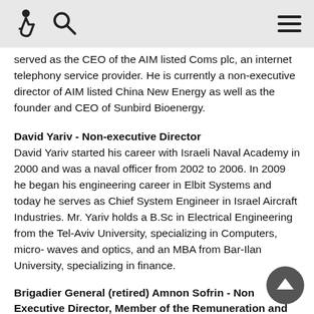[accessibility icon] [search icon] [menu icon]
served as the CEO of the AIM listed Coms plc, an internet telephony service provider. He is currently a non-executive director of AIM listed China New Energy as well as the founder and CEO of Sunbird Bioenergy.
David Yariv - Non-executive Director
David Yariv started his career with Israeli Naval Academy in 2000 and was a naval officer from 2002 to 2006. In 2009 he began his engineering career in Elbit Systems and today he serves as Chief System Engineer in Israel Aircraft Industries. Mr. Yariv holds a B.Sc in Electrical Engineering from the Tel-Aviv University, specializing in Computers, micro-waves and optics, and an MBA from Bar-Ilan University, specializing in finance.
Brigadier General (retired) Amnon Sofrin - Non Executive Director, Member of the Remuneration and Audit Committee
Brigadier General Sofrin served in the Israel Defense Forces ("IDF") from 1973 to 2003. His last assignment with the IDF was as Chief of the Combat Intelligence Corps, which he